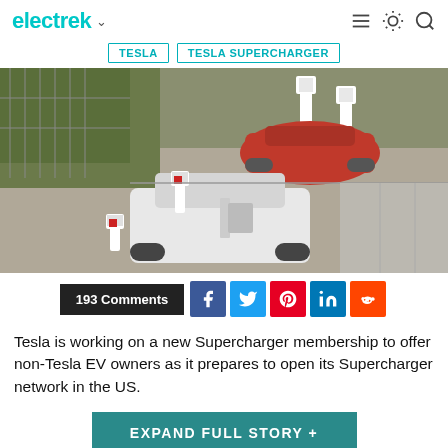electrek
TESLA
TESLA SUPERCHARGER
[Figure (photo): Aerial drone view of a Tesla Supercharger station with multiple cars including a red car and a white/black car plugged into Supercharger stalls]
193 Comments
Tesla is working on a new Supercharger membership to offer non-Tesla EV owners as it prepares to open its Supercharger network in the US.
EXPAND FULL STORY +